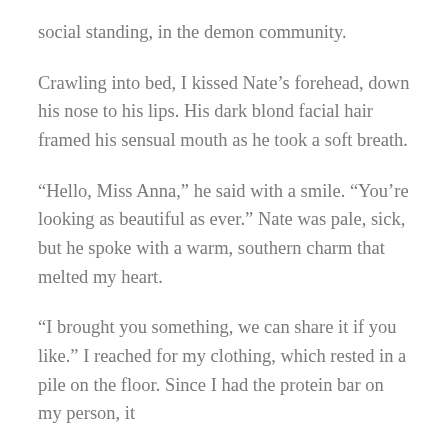social standing, in the demon community.
Crawling into bed, I kissed Nate’s forehead, down his nose to his lips. His dark blond facial hair framed his sensual mouth as he took a soft breath.
“Hello, Miss Anna,” he said with a smile. “You’re looking as beautiful as ever.” Nate was pale, sick, but he spoke with a warm, southern charm that melted my heart.
“I brought you something, we can share it if you like.” I reached for my clothing, which rested in a pile on the floor. Since I had the protein bar on my person, it